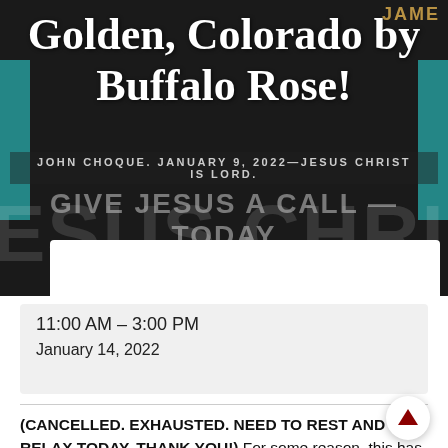[Figure (photo): Dark background hero image with 'JESUS CHRIST IS LORD' text overlay in large semi-transparent letters, teal accent color elements on sides, white text title 'Golden, Colorado by Buffalo Rose!' centered at top, metadata line 'JOHN CHOQUE. JANUARY 9, 2022—JESUS CHRIST IS LORD.' and 'GIVE JESUS A CALL — TODAY' overlaid text.]
Golden, Colorado by Buffalo Rose!
JOHN CHOQUE. JANUARY 9, 2022—JESUS CHRIST IS LORD.
GIVE JESUS A CALL — TODAY
11:00 AM – 3:00 PM
January 14, 2022
(CANCELLED. EXHAUSTED. NEED TO REST AND RELAX TODAY. THANK YOU!) For some reason, this has been a tough week, spiritually